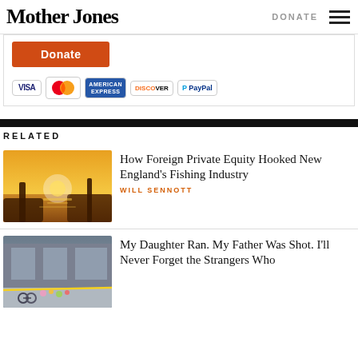Mother Jones  DONATE
[Figure (screenshot): Donate button (orange) with payment icons: VISA, MasterCard, American Express, Discover, PayPal]
RELATED
[Figure (photo): Fishing scene at sunset with hands and nets over water]
How Foreign Private Equity Hooked New England's Fishing Industry
WILL SENNOTT
[Figure (photo): Memorial scene outside a building with bicycles, flowers, and police tape]
My Daughter Ran. My Father Was Shot. I'll Never Forget the Strangers Who